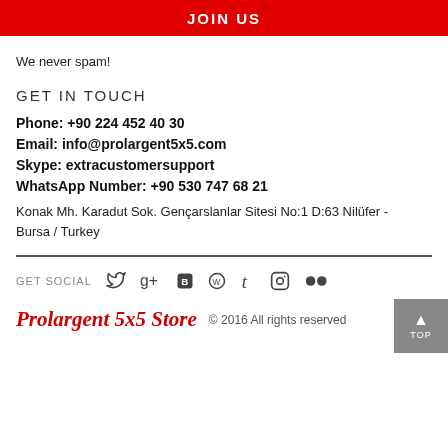JOIN US
We never spam!
GET IN TOUCH
Phone: +90 224 452 40 30
Email: info@prolargent5x5.com
Skype: extracustomersupport
WhatsApp Number: +90 530 747 68 21
Konak Mh. Karadut Sok. Gençarslanlar Sitesi No:1 D:63 Nilüfer - Bursa / Turkey
GET SOCIAL
Prolargent 5x5 Store
© 2016 All rights reserved